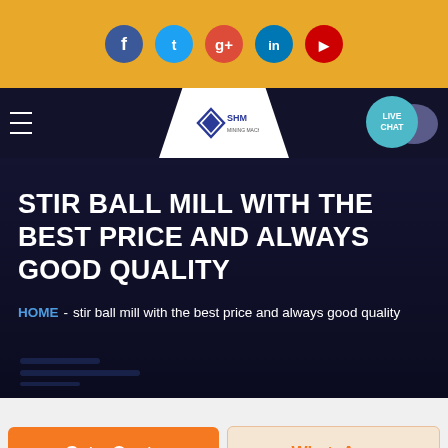[Figure (screenshot): Social media icons row: Facebook (blue), Twitter (teal), Google+ (red), LinkedIn (blue), YouTube (red) on golden/orange background]
[Figure (screenshot): Navigation bar with hamburger menu, SHM logo in white trapezoid, and Live Chat bubble]
STIR BALL MILL WITH THE BEST PRICE AND ALWAYS GOOD QUALITY
HOME - stir ball mill with the best price and always good quality
Get a Quote
WhatsApp